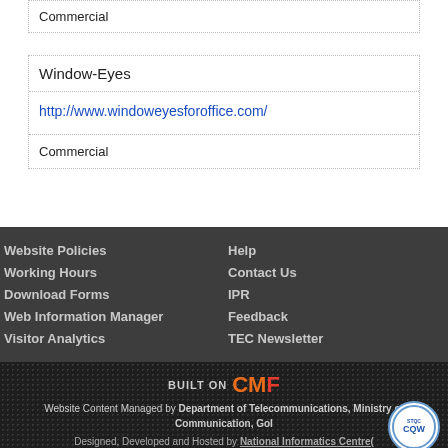| Commercial |
| ['Window-Eyes'] |
| --- |
| http://www.windoweyesforoffice.com/ |
| Commercial |
Website Policies | Working Hours | Download Forms | Web Information Manager | Visitor Analytics | Help | Contact Us | IPR | Feedback | TEC Newsletter
BUILT ON CMF
Website Content Managed by Department of Telecommunications, Ministry of Communication, GoI
Designed, Developed and Hosted by National Informatics Centre(